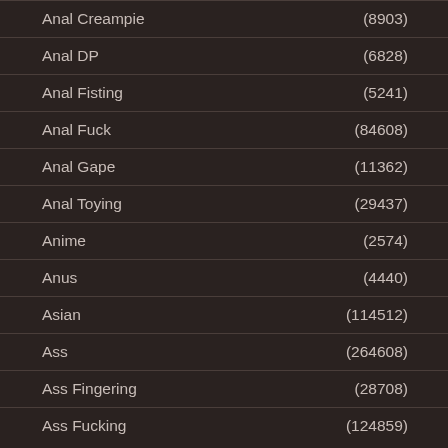Anal Creampie (8903)
Anal DP (6828)
Anal Fisting (5241)
Anal Fuck (84608)
Anal Gape (11362)
Anal Toying (29437)
Anime (2574)
Anus (4440)
Asian (114512)
Ass (264608)
Ass Fingering (28708)
Ass Fucking (124859)